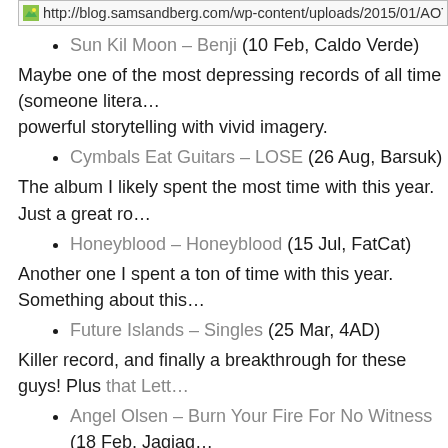[Figure (other): Broken image placeholder showing URL: http://blog.samsandberg.com/wp-content/uploads/2015/01/AOTY-]
Sun Kil Moon – Benji (10 Feb, Caldo Verde)
Maybe one of the most depressing records of all time (someone litera... powerful storytelling with vivid imagery.
Cymbals Eat Guitars – LOSE (26 Aug, Barsuk)
The album I likely spent the most time with this year. Just a great ro...
Honeyblood – Honeyblood (15 Jul, FatCat)
Another one I spent a ton of time with this year. Something about this...
Future Islands – Singles (25 Mar, 4AD)
Killer record, and finally a breakthrough for these guys! Plus that Lett...
Angel Olsen – Burn Your Fire For No Witness (18 Feb, Jagjag...